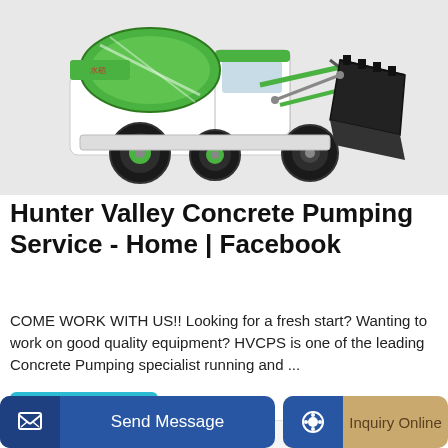[Figure (photo): A green and white concrete mixer truck (self-loading type) with a large black loading bucket/scoop on the front, on a light grey background.]
Hunter Valley Concrete Pumping Service - Home | Facebook
COME WORK WITH US!! Looking for a fresh start? Wanting to work on good quality equipment? HVCPS is one of the leading Concrete Pumping specialist running and ...
Learn More
[Figure (photo): Partial view of construction/pumping equipment at the bottom of the page, appears to be another concrete-related vehicle.]
Send Message
Inquiry Online